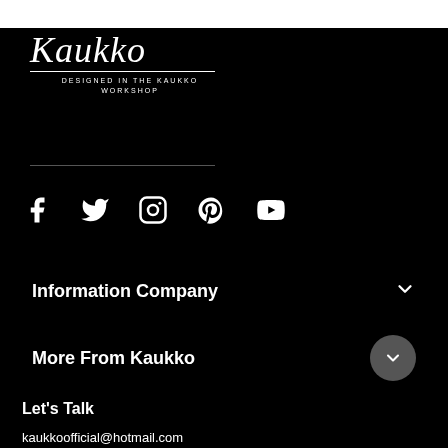[Figure (logo): Kaukko brand logo in white cursive/script font with 'DESIGNED IN THE KAUKKO WORKSHOP' text below, on black background]
[Figure (infographic): Row of social media icons: Facebook, Twitter, Instagram, Pinterest, YouTube — all white on black background]
Information Company
More From Kaukko
Let's Talk
kaukkoofficial@hotmail.com